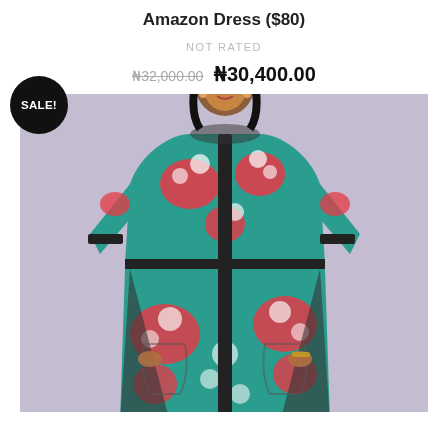Amazon Dress ($80)
NOT RATED
₦32,000.00  ₦30,400.00
[Figure (photo): A woman wearing a floral print dress with red, white, teal and black pattern, fitted silhouette with black trim panels, short sleeves, posing with hands in pockets. A black circular 'SALE!' badge is overlaid in the upper left corner of the image.]